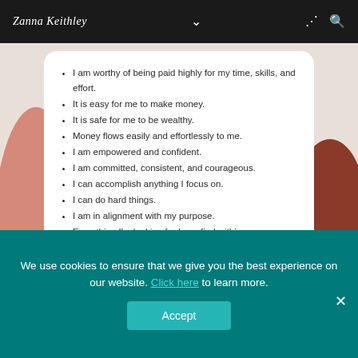Zanna Keithley
I am worthy of being paid highly for my time, skills, and effort.
It is easy for me to make money.
It is safe for me to be wealthy.
Money flows easily and effortlessly to me.
I am empowered and confident.
I am committed, consistent, and courageous.
I can accomplish anything I focus on.
I can do hard things.
I am in alignment with my purpose.
Everything I'm looking for I can find within me.
Everything is always aligning in my favor.
The only force that can stop me is me.
ZANNAKEITHLEY.COM
We use cookies to ensure that we give you the best experience on our website. Click here to learn more.